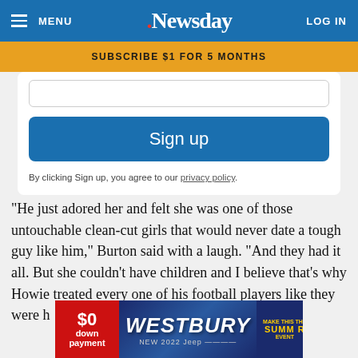MENU  .Newsday  LOG IN
SUBSCRIBE $1 FOR 5 MONTHS
Sign up
By clicking Sign up, you agree to our privacy policy.
"He just adored her and felt she was one of those untouchable clean-cut girls that would never date a tough guy like him," Burton said with a laugh. "And they had it all. But she couldn't have children and I believe that's why Howie treated every one of his football players like they were h
[Figure (screenshot): Westbury car dealership advertisement banner with $0 down payment offer for New 2022 Jeep]